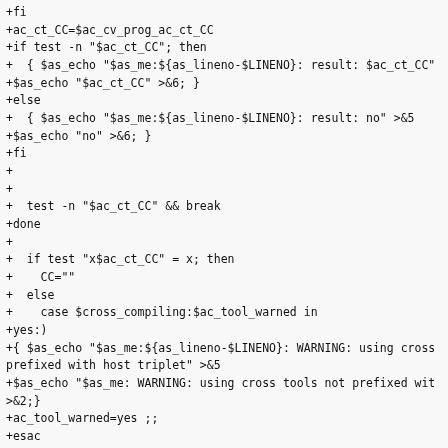+fi
+ac_ct_CC=$ac_cv_prog_ac_ct_CC
+if test -n "$ac_ct_CC"; then
+  { $as_echo "$as_me:${as_lineno-$LINENO}: result: $ac_ct_CC"
+$as_echo "$ac_ct_CC" >&6; }
+else
+  { $as_echo "$as_me:${as_lineno-$LINENO}: result: no" >&5
+$as_echo "no" >&6; }
+fi
+
+
+  test -n "$ac_ct_CC" && break
+done
+
+  if test "x$ac_ct_CC" = x; then
+    CC=""
+  else
+    case $cross_compiling:$ac_tool_warned in
+yes:)
+{ $as_echo "$as_me:${as_lineno-$LINENO}: WARNING: using cross
prefixed with host triplet" >&5
+$as_echo "$as_me: WARNING: using cross tools not prefixed wit
>&2;}
+ac_tool_warned=yes ;;
+esac